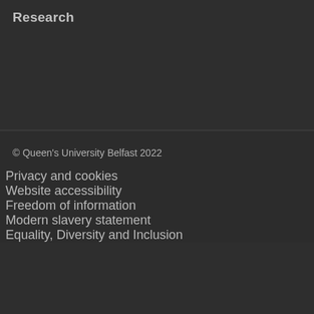Research
© Queen's University Belfast 2022
Privacy and cookies
Website accessibility
Freedom of information
Modern slavery statement
Equality, Diversity and Inclusion